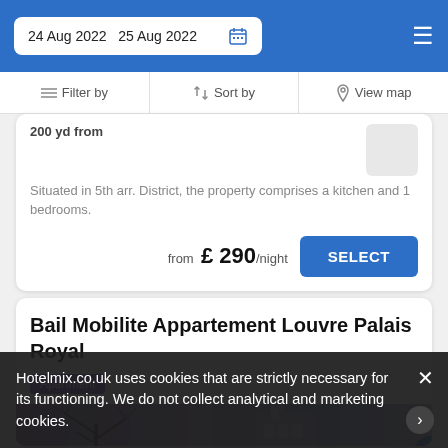24 Aug 2022  25 Aug 2022
Filter by  Sort by  View map
200 yd from
Situated in 5th arr. District, the property comprises a kitchen and 1 bedrooms.
from £ 290/night
Bail Mobilite Appartement Louvre Palais Royal
Apartment
Hotelmix.co.uk uses cookies that are strictly necessary for its functioning. We do not collect analytical and marketing cookies.